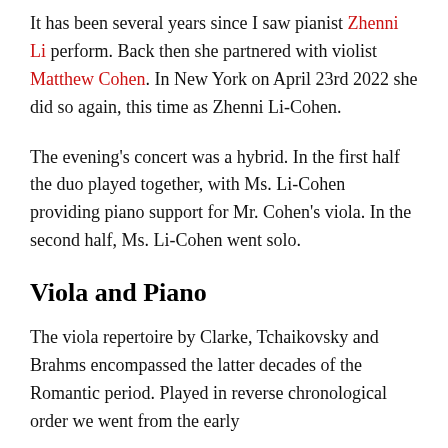It has been several years since I saw pianist Zhenni Li perform. Back then she partnered with violist Matthew Cohen. In New York on April 23rd 2022 she did so again, this time as Zhenni Li-Cohen.
The evening's concert was a hybrid. In the first half the duo played together, with Ms. Li-Cohen providing piano support for Mr. Cohen's viola. In the second half, Ms. Li-Cohen went solo.
Viola and Piano
The viola repertoire by Clarke, Tchaikovsky and Brahms encompassed the latter decades of the Romantic period. Played in reverse chronological order we went from the early